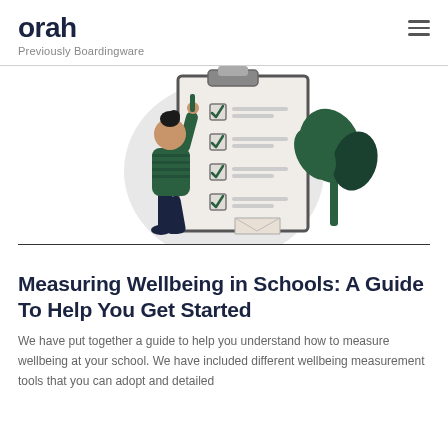orah — Previously Boardingware
[Figure (illustration): Illustration of a person checking off items on a large clipboard checklist, with a green plant to the right and a grey circular backdrop]
Measuring Wellbeing in Schools: A Guide To Help You Get Started
We have put together a guide to help you understand how to measure wellbeing at your school. We have included different wellbeing measurement tools that you can adopt and detailed the steps to follow to measure wellbeing...